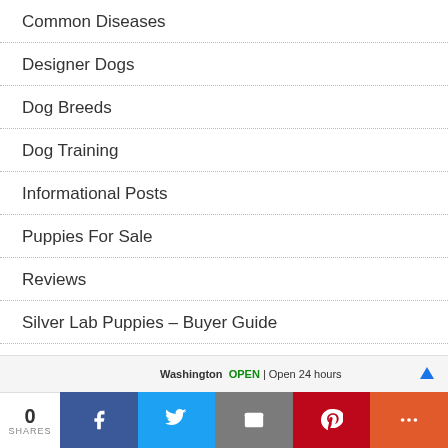Common Diseases
Designer Dogs
Dog Breeds
Dog Training
Informational Posts
Puppies For Sale
Reviews
Silver Lab Puppies – Buyer Guide
Top Breeders
Uncategorized
0 SHARES | Share on Facebook | Share on Twitter | Email | Share on Pinterest | More